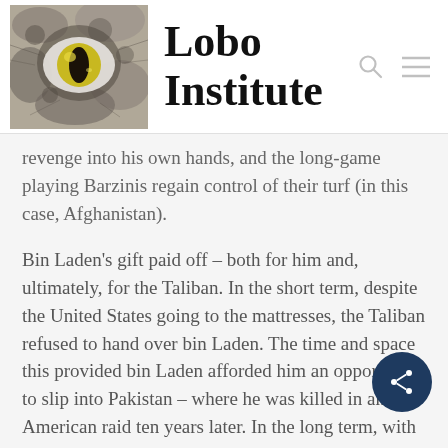[Figure (logo): Lobo Institute logo with wolf eye image on the left and bold text 'Lobo Institute' on the right]
revenge into his own hands, and the long-game playing Barzinis regain control of their turf (in this case, Afghanistan).
Bin Laden's gift paid off – both for him and, ultimately, for the Taliban. In the short term, despite the United States going to the mattresses, the Taliban refused to hand over bin Laden. The time and space this provided bin Laden afforded him an opportunity to slip into Pakistan – where he was killed in an American raid ten years later. In the long term, with victory declared over resistance